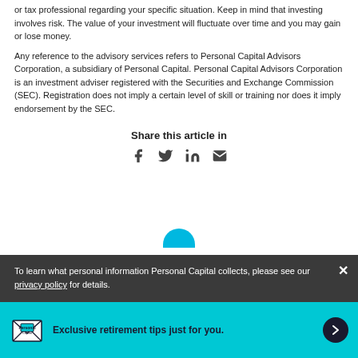or tax professional regarding your specific situation. Keep in mind that investing involves risk. The value of your investment will fluctuate over time and you may gain or lose money.
Any reference to the advisory services refers to Personal Capital Advisors Corporation, a subsidiary of Personal Capital. Personal Capital Advisors Corporation is an investment adviser registered with the Securities and Exchange Commission (SEC). Registration does not imply a certain level of skill or training nor does it imply endorsement by the SEC.
Share this article in
[Figure (infographic): Social sharing icons: Facebook, Twitter, LinkedIn, Email]
To learn what personal information Personal Capital collects, please see our privacy policy for details.
Exclusive retirement tips just for you.